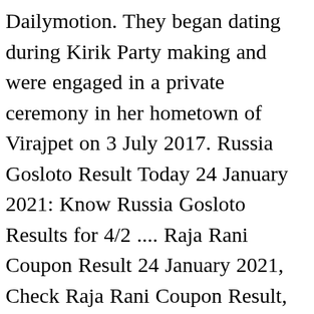Dailymotion. They began dating during Kirik Party making and were engaged in a private ceremony in her hometown of Virajpet on 3 July 2017. Russia Gosloto Result Today 24 January 2021: Know Russia Gosloto Results for 4/2 .... Raja Rani Coupon Result 24 January 2021, Check Raja Rani Coupon Result, Rajarani .... 1 Rabbit Saw 9 Elephants Riddle battle of Mathematics and English: Lets See How .... National Statistics Day 2020: Important date, History, Purpose and Special quotes, World Asteroid Day 2020: Important date,